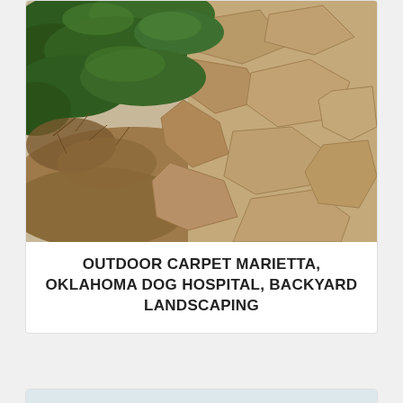[Figure (photo): Aerial/overhead view of flagstone stepping stones surrounded by dry mulch and green shrubs/ground cover plants]
OUTDOOR CARPET MARIETTA, OKLAHOMA DOG HOSPITAL, BACKYARD LANDSCAPING
[Figure (photo): Backyard playground with large wooden swing set/playhouse structure featuring a green slide, blue baby swing, green grass turf, white fence, and a dog kennel/run visible in the background]